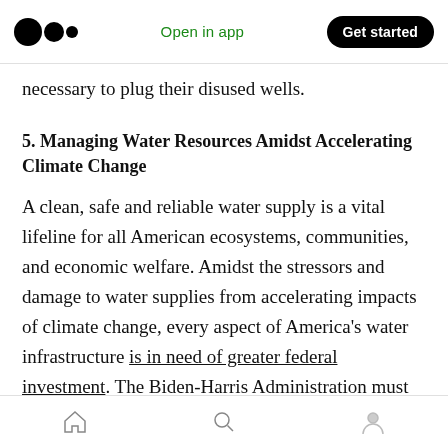Open in app | Get started
necessary to plug their disused wells.
5. Managing Water Resources Amidst Accelerating Climate Change
A clean, safe and reliable water supply is a vital lifeline for all American ecosystems, communities, and economic welfare. Amidst the stressors and damage to water supplies from accelerating impacts of climate change, every aspect of America's water infrastructure is in need of greater federal investment. The Biden-Harris Administration must work with Congress to increase funding for water resource